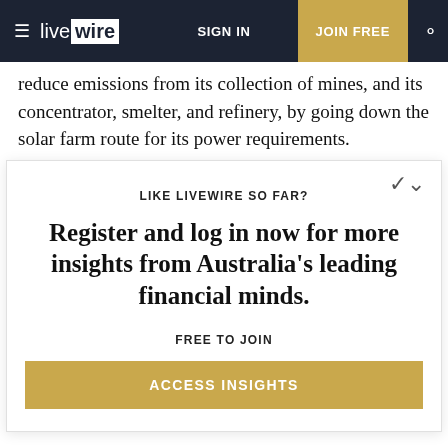livewire | SIGN IN | JOIN FREE
reduce emissions from its collection of mines, and its concentrator, smelter, and refinery, by going down the solar farm route for its power requirements.
The move underscores the situation that while nickel
[Figure (other): Livewire registration modal overlay with headline 'Register and log in now for more insights from Australia's leading financial minds.' and ACCESS INSIGHTS button]
80% renewables, it could do a lot better. That's the